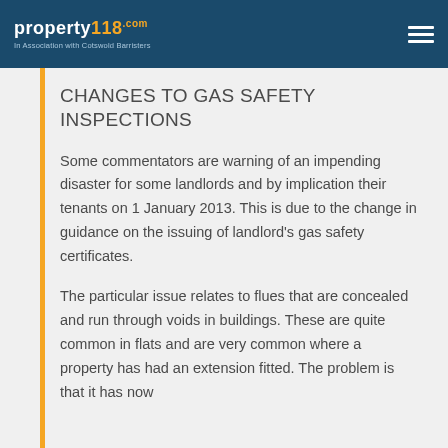property118.com — In Association with Cotswold Barristers
CHANGES TO GAS SAFETY INSPECTIONS
Some commentators are warning of an impending disaster for some landlords and by implication their tenants on 1 January 2013. This is due to the change in guidance on the issuing of landlord's gas safety certificates.
The particular issue relates to flues that are concealed and run through voids in buildings. These are quite common in flats and are very common where a property has had an extension fitted. The problem is that it has now